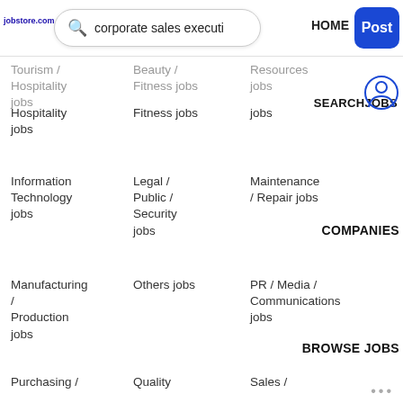jobstore.com  [search: corporate sales executi]  HOME  Post
Tourism / Hospitality jobs
Beauty / Fitness jobs
Resources jobs
Information Technology jobs
Legal / Public / Security jobs
Maintenance / Repair jobs
Manufacturing / Production jobs
Others jobs
PR / Media / Communications jobs
Purchasing /
Quality
Sales /
SEARCHJOBS
COMPANIES
BROWSE JOBS